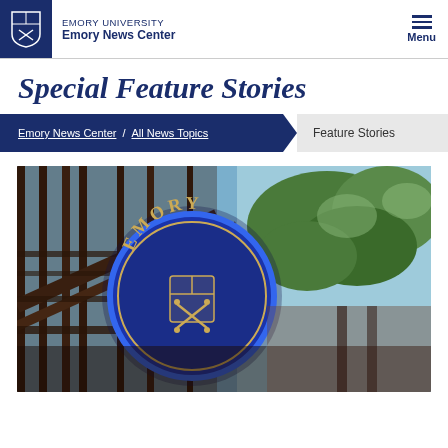EMORY UNIVERSITY | Emory News Center
Special Feature Stories
Emory News Center / All News Topics / Feature Stories
[Figure (photo): Outdoor photo of the Emory University circular blue sign with crest (crossed torches and shield), mounted on railing with trees in background]